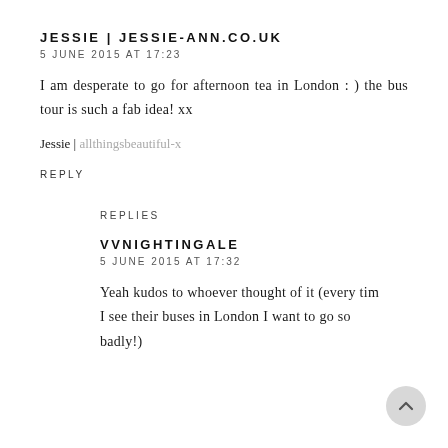JESSIE | JESSIE-ANN.CO.UK
5 JUNE 2015 AT 17:23
I am desperate to go for afternoon tea in London : ) the bus tour is such a fab idea! xx
Jessie | allthingsbeautiful-x
REPLY
REPLIES
VVNIGHTINGALE
5 JUNE 2015 AT 17:32
Yeah kudos to whoever thought of it (every tim… I see their buses in London I want to go so badly!)